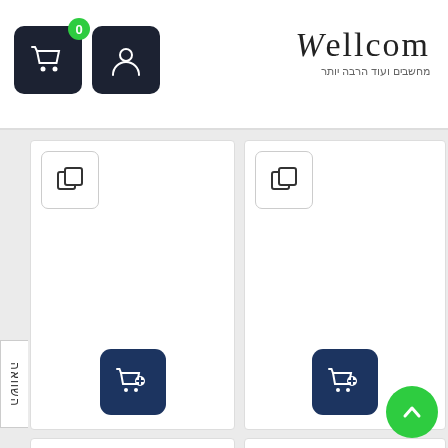[Figure (screenshot): Wellcom e-commerce website header with shopping cart button (badge showing 0), user account button, and Wellcom logo with Hebrew subtitle 'מחשבים ועוד הרבה יותר']
[Figure (screenshot): E-commerce product grid with two product card columns. Each card has a compare icon (overlapping squares), an add-to-cart button (dark blue with cart+plus icon). Side label in Hebrew 'השוואה'. Green scroll-to-top button at bottom right.]